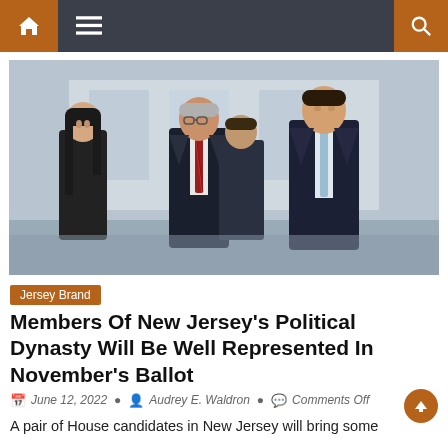Navigation bar with home, menu, and search icons
[Figure (photo): Four people walking outdoors in formal attire. Center figure is an older man in a dark suit with a red striped tie. To his left is a woman in a black coat with long dark hair. To his right is a tall young man in a dark suit with a light blue tie. Behind them is another man in a suit.]
Jersey Brand
Members Of New Jersey's Political Dynasty Will Be Well Represented In November's Ballot
June 12, 2022   Audrey E. Waldron   Comments Off
A pair of House candidates in New Jersey will bring some